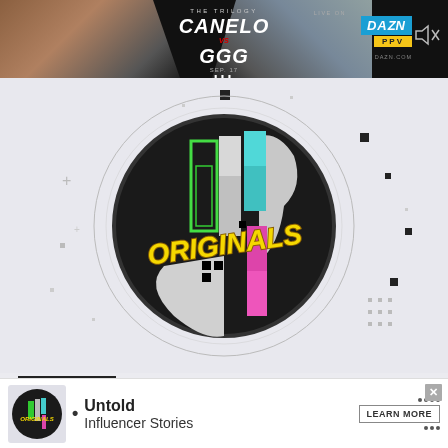[Figure (advertisement): DAZN PPV advertisement banner for Canelo vs GGG The Trilogy boxing match. Dark background with two boxers facing each other, DAZN PPV logo, date SEP. 17, DAЗN.COM text, and mute icon in top right.]
[Figure (logo): DAZN Originals logo — circular dark badge with colorful vertical bars (green, pink, blue) and yellow graffiti text 'ORIGINALS' on white/light gray background with geometric dot and crosshair decorative elements.]
Untold
Influencer Stories
[Figure (advertisement): Bottom ad bar showing DAZN Originals logo thumbnail, bullet point, 'Untold Influencer Stories' text, LEARN MORE button with dots decoration, and X close button.]